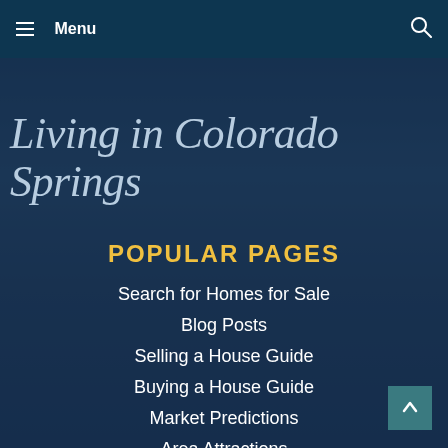≡ Menu
Living in Colorado Springs
POPULAR PAGES
Search for Homes for Sale
Blog Posts
Selling a House Guide
Buying a House Guide
Market Predictions
Area Attractions